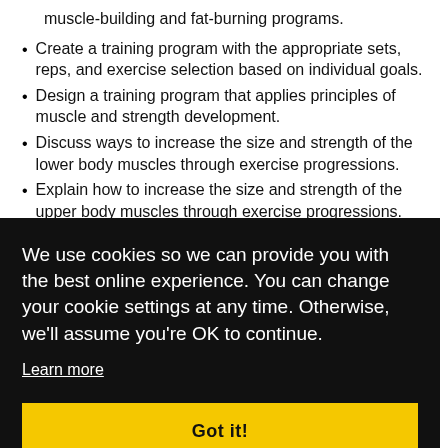muscle-building and fat-burning programs.
Create a training program with the appropriate sets, reps, and exercise selection based on individual goals.
Design a training program that applies principles of muscle and strength development.
Discuss ways to increase the size and strength of the lower body muscles through exercise progressions.
Explain how to increase the size and strength of the upper body muscles through exercise progressions.
We use cookies so we can provide you with the best online experience. You can change your cookie settings at any time. Otherwise, we'll assume you're OK to continue.
Learn more
Got it!